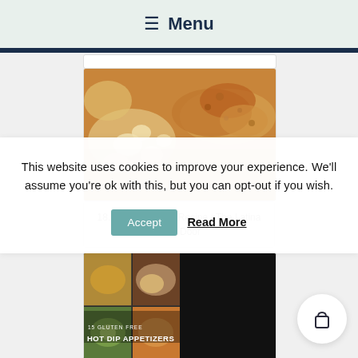☰ Menu
[Figure (photo): Close-up photo of crack potato recipe, showing golden crispy topping over creamy potato base]
18. "Crack" Potato Recipe | The Latina Next Door
[Figure (photo): Collage of gluten free hot dip appetizers with text overlay: 15 GLUTEN FREE HOT DIP APPETIZERS]
This website uses cookies to improve your experience. We'll assume you're ok with this, but you can opt-out if you wish.
Accept   Read More